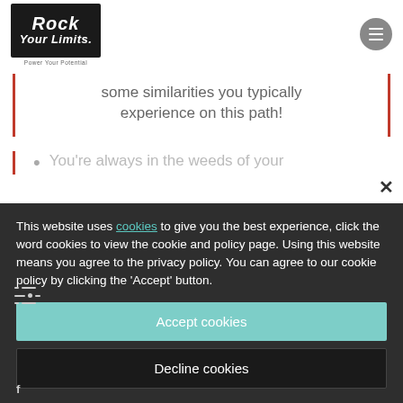[Figure (logo): Rock Your Limits logo - black background with white text 'Rock Your Limits. Power Your Potential']
[Figure (other): Hamburger menu button - grey circle with three white horizontal bars]
some similarities you typically experience on this path!
You're always in the weeds of your
This website uses cookies to give you the best experience, click the word cookies to view the cookie and policy page. Using this website means you agree to the privacy policy. You can agree to our cookie policy by clicking the 'Accept' button.
Accept cookies
Decline cookies